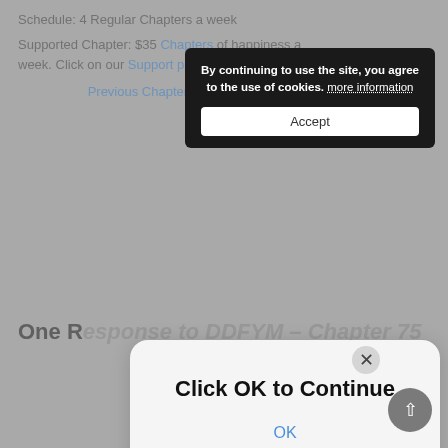Schedule: 4 Regular Chapters a week
Supported Chapter: $35 ... of happiness a week. Click on our Support page ... queue!
Previous Chapter | Project Page | Next Chapter
[Figure (screenshot): Cookie consent banner: 'By continuing to use the site, you agree to the use of cookies. more information' with an Accept button]
[Figure (screenshot): Modal dialog with 'Click OK to Continue' text and an OK link]
One Response to DDFYM – Chapter 75
Anon  JULY 23, 2017 AT 5:24 AM
Ahhhh~~ its so good to see so many chapters!! Last time I visited it was still.... Oops, you've caught up... And now, it gloriously has this many chapters! Thanks!!!